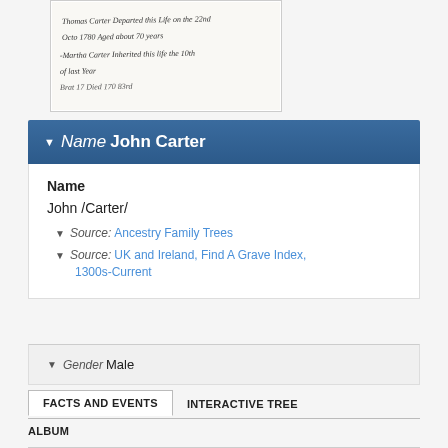[Figure (photo): Handwritten historical document/record, partially visible, with cursive script text referencing John Carter]
Name John Carter
Name
John /Carter/
Source: Ancestry Family Trees
Source: UK and Ireland, Find A Grave Index, 1300s-Current
Gender Male
FACTS AND EVENTS
INTERACTIVE TREE
ALBUM